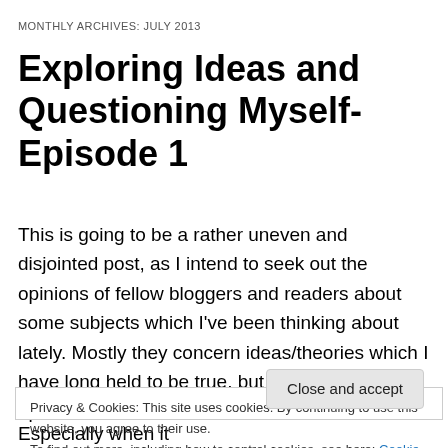MONTHLY ARCHIVES: JULY 2013
Exploring Ideas and Questioning Myself- Episode 1
This is going to be a rather uneven and disjointed post, as I intend to seek out the opinions of fellow bloggers and readers about some subjects which I’ve been thinking about lately. Mostly they concern ideas/theories which I have long held to be true, but now want second opinions about
Privacy & Cookies: This site uses cookies. By continuing to use this website, you agree to their use. To find out more, including how to control cookies, see here: Cookie Policy
considered marriageable than women. Especially when it